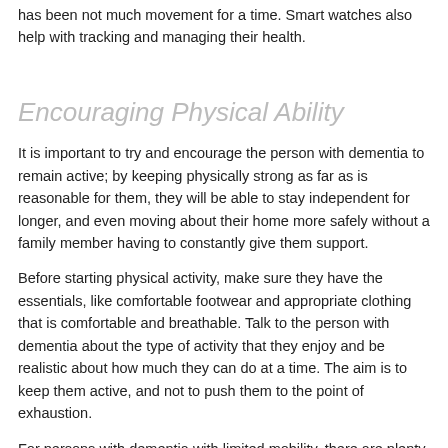has been not much movement for a time. Smart watches also help with tracking and managing their health.
Encouraging Physical Ability
It is important to try and encourage the person with dementia to remain active; by keeping physically strong as far as is reasonable for them, they will be able to stay independent for longer, and even moving about their home more safely without a family member having to constantly give them support.
Before starting physical activity, make sure they have the essentials, like comfortable footwear and appropriate clothing that is comfortable and breathable. Talk to the person with dementia about the type of activity that they enjoy and be realistic about how much they can do at a time. The aim is to keep them active, and not to push them to the point of exhaustion.
For persons with dementia with limited mobility, there are plenty of chair-based exercises that you can use. ADA has uploaded various stay-home workout videos on its Facebook and YouTube where